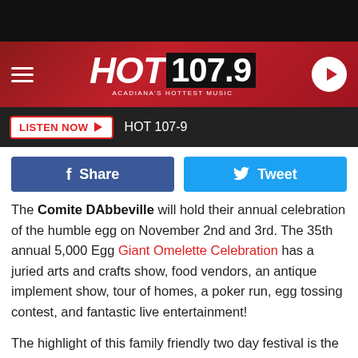[Figure (logo): HOT 107.9 radio station logo with hamburger menu and play button on dark red gradient header]
LISTEN NOW ▶  HOT 107-9
[Figure (infographic): Facebook Share button and Twitter Tweet button]
The Comite DAbbeville will hold their annual celebration of the humble egg on November 2nd and 3rd. The 35th annual 5,000 Egg Giant Omelette Celebration has a juried arts and crafts show, food vendors, an antique implement show, tour of homes, a poker run, egg tossing contest, and fantastic live entertainment!
The highlight of this family friendly two day festival is the cooking of the 5,000 egg omelet, by both Louisiana and French chefs, on a 12 foot skillet. This will take place on